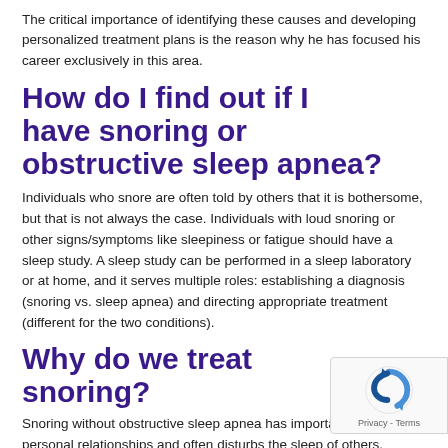The critical importance of identifying these causes and developing personalized treatment plans is the reason why he has focused his career exclusively in this area.
How do I find out if I have snoring or obstructive sleep apnea?
Individuals who snore are often told by others that it is bothersome, but that is not always the case. Individuals with loud snoring or other signs/symptoms like sleepiness or fatigue should have a sleep study. A sleep study can be performed in a sleep laboratory or at home, and it serves multiple roles: establishing a diagnosis (snoring vs. sleep apnea) and directing appropriate treatment (different for the two conditions).
Why do we treat snoring?
Snoring without obstructive sleep apnea has important effe... personal relationships and often disturbs the sleep of others.